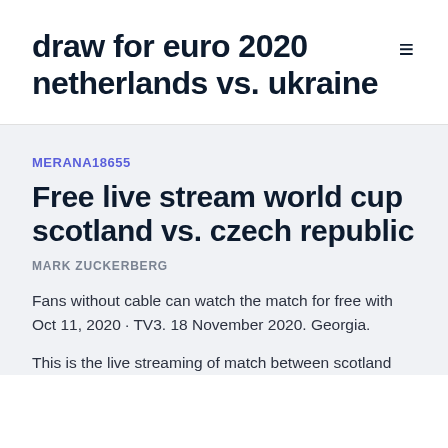draw for euro 2020 netherlands vs. ukraine
MERANA18655
Free live stream world cup scotland vs. czech republic
MARK ZUCKERBERG
Fans without cable can watch the match for free with Oct 11, 2020 · TV3. 18 November 2020. Georgia.
This is the live streaming of match between scotland